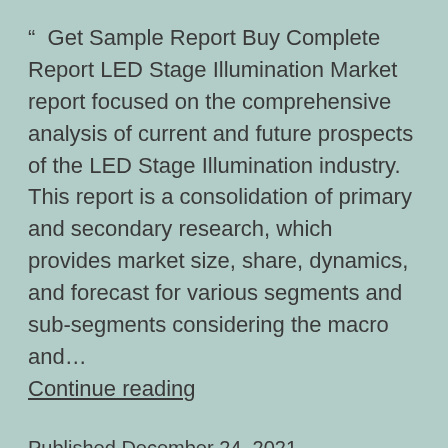“  Get Sample Report Buy Complete Report LED Stage Illumination Market report focused on the comprehensive analysis of current and future prospects of the LED Stage Illumination industry. This report is a consolidation of primary and secondary research, which provides market size, share, dynamics, and forecast for various segments and sub-segments considering the macro and… Continue reading
Published December 24, 2021